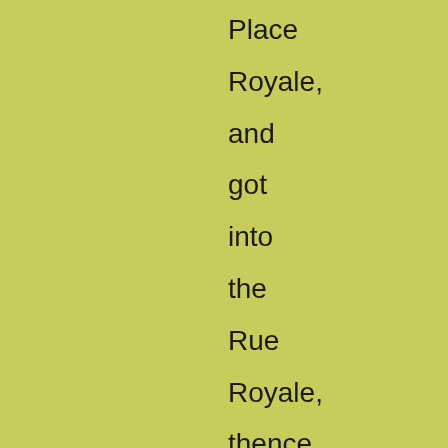Place Royale, and got into the Rue Royale, thence I had diverged into the Rue de Louvain - an old and